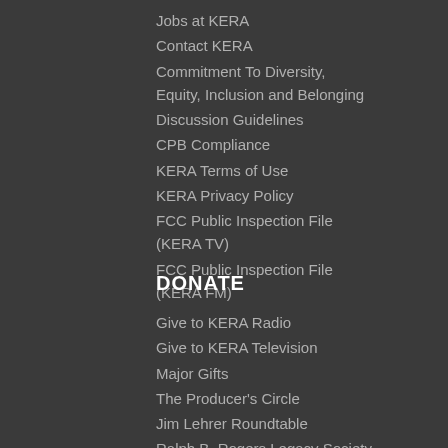Jobs at KERA
Contact KERA
Commitment To Diversity, Equity, Inclusion and Belonging
Discussion Guidelines
CPB Compliance
KERA Terms of Use
KERA Privacy Policy
FCC Public Inspection File (KERA TV)
FCC Public Inspection File (KERA FM)
DONATE
Give to KERA Radio
Give to KERA Television
Major Gifts
The Producer's Circle
Jim Lehrer Roundtable
Ralph B. Rogers Legacy Society
Donate Your Vehicle